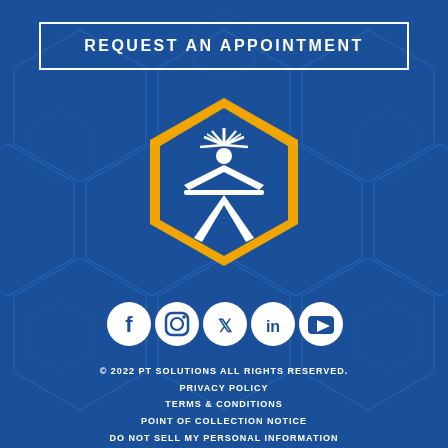REQUEST AN APPOINTMENT
[Figure (logo): PT Solutions hexagonal logo with white figure and sunburst design on blue background with gold border]
[Figure (infographic): Social media icons row: Facebook, Instagram, Twitter, LinkedIn, YouTube — white icons on white circles]
© 2022 PT SOLUTIONS ALL RIGHTS RESERVED.
PRIVACY POLICY
TERMS & CONDITIONS
POINT OF COLLECTION NOTICE
DO NOT SELL MY PERSONAL INFORMATION